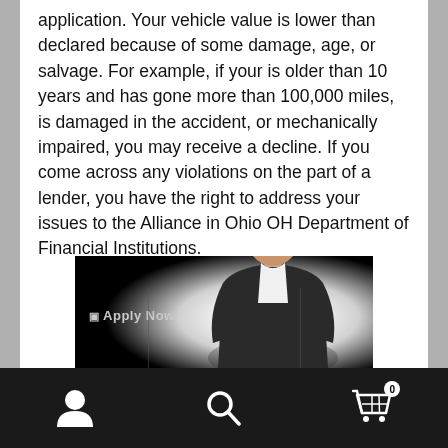application. Your vehicle value is lower than declared because of some damage, age, or salvage. For example, if your is older than 10 years and has gone more than 100,000 miles, is damaged in the accident, or mechanically impaired, you may receive a decline. If you come across any violations on the part of a lender, you have the right to address your issues to the Alliance in Ohio OH Department of Financial Institutions.
[Figure (photo): Screenshot of a website banner with a dark/black background and spotlight effect showing a man in a dark suit and white shirt, with 'Apply Now' text and checkbox icon on the left side.]
Navigation bar with user icon, search icon, and cart icon with badge showing 0